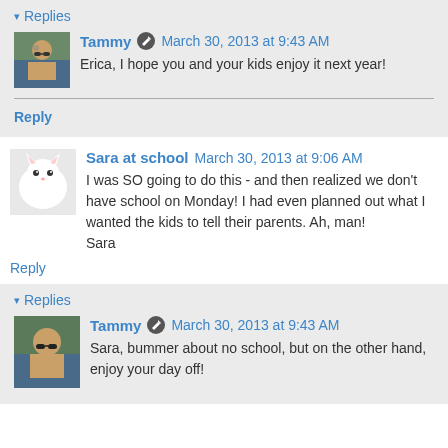Replies
Tammy  March 30, 2013 at 9:43 AM
Erica, I hope you and your kids enjoy it next year!
Reply
Sara at school  March 30, 2013 at 9:06 AM
I was SO going to do this - and then realized we don't have school on Monday! I had even planned out what I wanted the kids to tell their parents. Ah, man!
Sara
Reply
Replies
Tammy  March 30, 2013 at 9:43 AM
Sara, bummer about no school, but on the other hand, enjoy your day off!